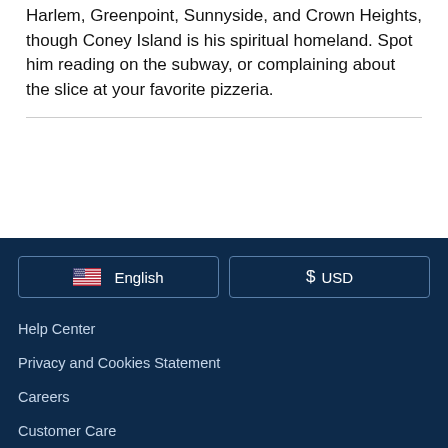Harlem, Greenpoint, Sunnyside, and Crown Heights, though Coney Island is his spiritual homeland. Spot him reading on the subway, or complaining about the slice at your favorite pizzeria.
English | $ USD | Help Center | Privacy and Cookies Statement | Careers | Customer Care